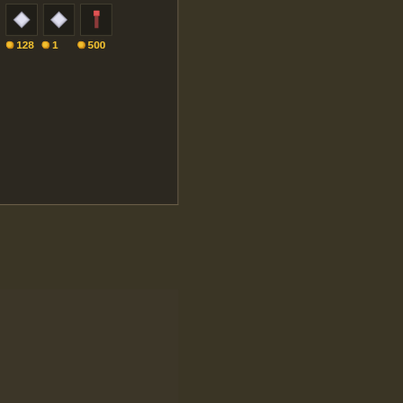[Figure (screenshot): RuneScape game screenshot showing an inventory/bank interface with items and gold coin amounts: 128, 1, 500. Dark brownish game background.]
RuneHQ is Hiring!
Close
Have you ever wanted to make a difference on RuneHQ? Now is your chance, we are currently hiring volunteers!
For more information about staff roles and responsibilities see this area.
Once you are ready (and signed into the forums), you can find open applications on the navigation bar at the top of the forums.
9. Bank: Draynor Bank will show Wise Old
Top